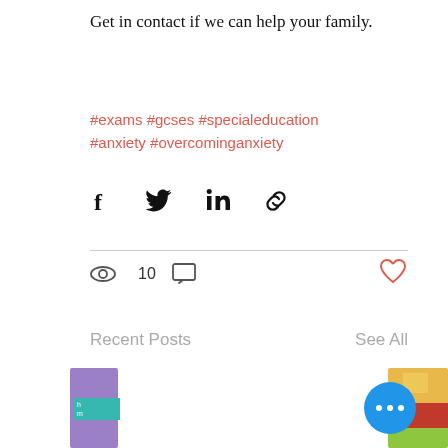Get in contact if we can help your family.
#exams #gcses #specialeducation #anxiety #overcominganxiety
[Figure (infographic): Social share icons: Facebook, Twitter, LinkedIn, link/chain icon]
10 views, comment icon, heart/like icon
Recent Posts
See All
[Figure (photo): Two partial thumbnail images of recent blog posts. Left: purple background card with teal label. Right: colorful photo with a blue circular more-options button (three dots).]